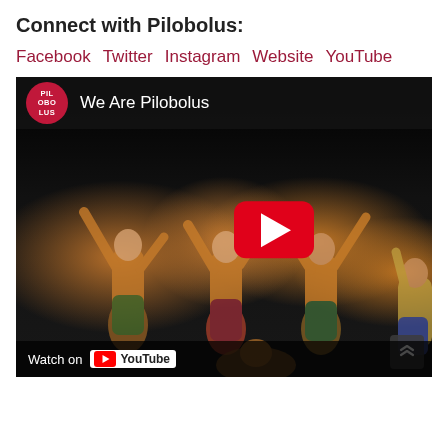Connect with Pilobolus:
Facebook   Twitter   Instagram   Website   YouTube
[Figure (screenshot): YouTube video embed showing 'We Are Pilobolus' with Pilobolus logo, dancers on stage in colorful costumes with arms raised, YouTube play button overlay, and 'Watch on YouTube' bar at bottom.]